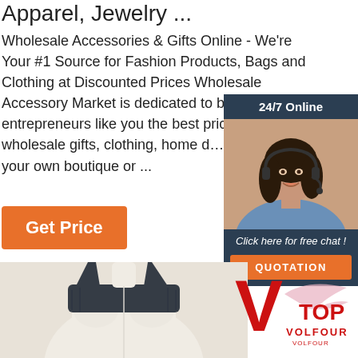Apparel, Jewelry ...
Wholesale Accessories & Gifts Online - We're Your #1 Source for Fashion Products, Bags and Clothing at Discounted Prices Wholesale Accessory Market is dedicated to bringing entrepreneurs like you the best prices in wholesale gifts, clothing, home decor, and jewelry for your own boutique or ...
[Figure (infographic): Chat widget with 24/7 Online header, photo of woman with headset, 'Click here for free chat!' text, and QUOTATION button]
Get Price
[Figure (photo): Mannequin torso wearing a dark navy/charcoal sports bra or top straps]
[Figure (logo): Volfour TOP logo with large red V and wing design]